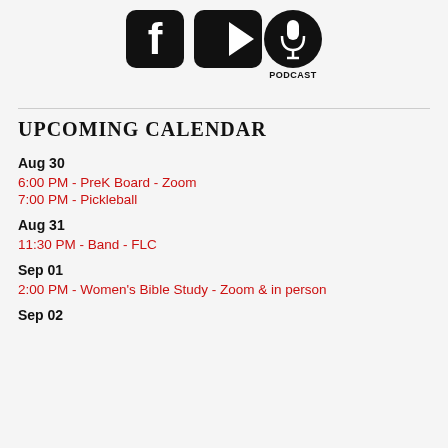[Figure (logo): Three social media icons: Facebook logo, YouTube play button, and a microphone/podcast icon labeled PODCAST]
UPCOMING CALENDAR
Aug 30
6:00 PM - PreK Board - Zoom
7:00 PM - Pickleball
Aug 31
11:30 PM - Band - FLC
Sep 01
2:00 PM - Women's Bible Study - Zoom & in person
Sep 02